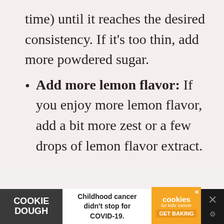time) until it reaches the desired consistency. If it's too thin, add more powdered sugar.
Add more lemon flavor: If you enjoy more lemon flavor, add a bit more zest or a few drops of lemon flavor extract.
[Figure (other): Advertisement banner for Cookie Dough / Cookies for Kids' Cancer charity: 'Childhood cancer didn't stop for COVID-19. GET BAKING']